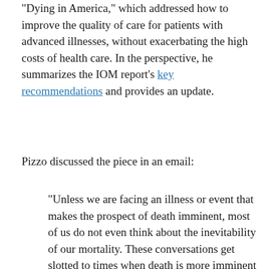“Dying in America,” which addressed how to improve the quality of care for patients with advanced illnesses, without exacerbating the high costs of health care. In the perspective, he summarizes the IOM report’s key recommendations and provides an update.
Pizzo discussed the piece in an email:
“Unless we are facing an illness or event that makes the prospect of death imminent, most of us do not even think about the inevitability of our mortality. These conversations get slotted to times when death is more imminent and when our crisis-oriented decisions may not